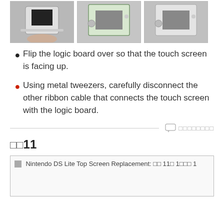[Figure (photo): Three photos showing Nintendo DS Lite being worked on, displayed in a row at the top of the page.]
Flip the logic board over so that the touch screen is facing up.
Using metal tweezers, carefully disconnect the other ribbon cable that connects the touch screen with the logic board.
□□□□□□□□
□□11
[Figure (photo): Nintendo DS Lite Top Screen Replacement: □□ 11□ 1□□□ 1 — broken/loading image placeholder]